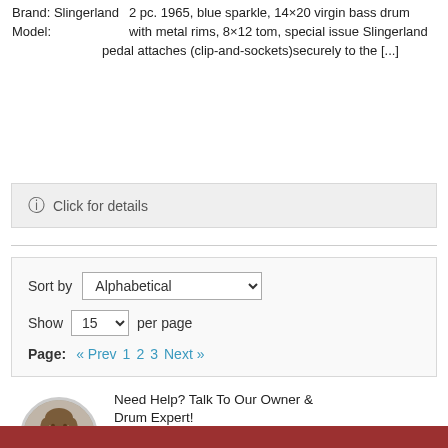Brand: Slingerland
Model:
2 pc. 1965, blue sparkle, 14×20 virgin bass drum with metal rims, 8×12 tom, special issue Slingerland pedal attaches (clip-and-sockets)securely to the [...]
ⓘ Click for details
Sort by Alphabetical
Show 15 per page
Page: « Prev  1  2  3  Next »
Need Help? Talk To Our Owner & Drum Expert!
CALL 800.729.3111
or EMAIL US▶
[Figure (photo): Circular headshot photo of a man with long hair and a moustache, wearing a white shirt.]